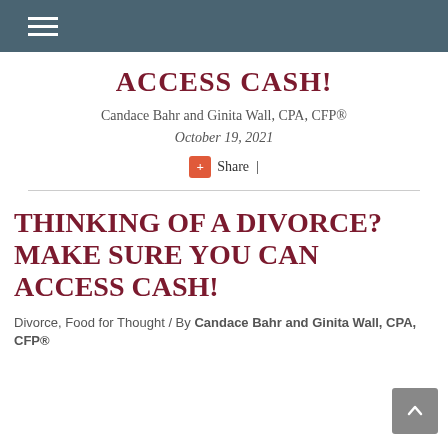ACCESS CASH!
Candace Bahr and Ginita Wall, CPA, CFP®
October 19, 2021
+ Share |
THINKING OF A DIVORCE? MAKE SURE YOU CAN ACCESS CASH!
Divorce, Food for Thought / By Candace Bahr and Ginita Wall, CPA, CFP®